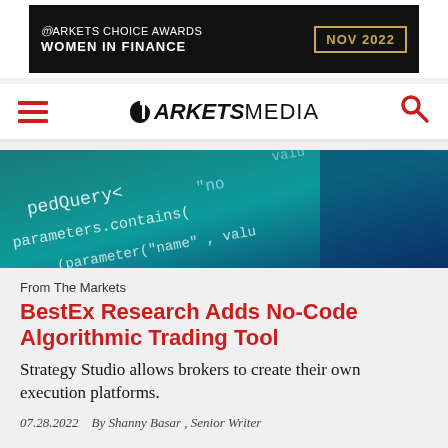[Figure (other): Banner advertisement for Markets Choice Awards Women in Finance, NOV 2022, black background with gold border date box]
MARKETS MEDIA (logo with hamburger menu and search icon)
[Figure (photo): Code/programming background image in teal/blue tones showing JavaScript/query code text like pedQuery, parameters.contains, parameter(name)]
From The Markets
BestEx Research Adds No-Code Algorithmic Trading Tool
Strategy Studio allows brokers to create their own execution platforms.
07.28.2022   By Shanny Basar , Senior Writer